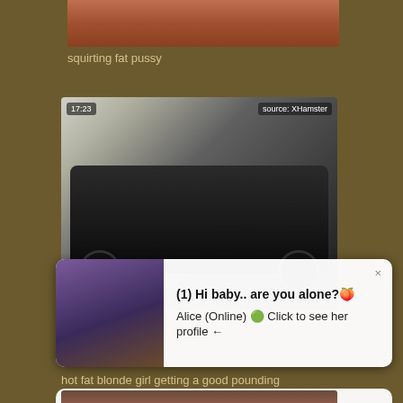[Figure (photo): Cropped top portion of a video thumbnail, brownish-red tones]
squirting fat pussy
[Figure (screenshot): Video thumbnail showing a black Mercedes car with a timestamp badge '17:23' and source badge 'source: XHamster']
[Figure (screenshot): Popup notification overlay: '(1) Hi baby.. are you alone? Alice (Online) Click to see her profile']
hot fat blonde girl getting a good pounding
[Figure (screenshot): Second popup notification overlay: '(1) Hi baby.. are you alone? Alice (Online) Click to see her profile']
[Figure (photo): Partial bottom thumbnail image]